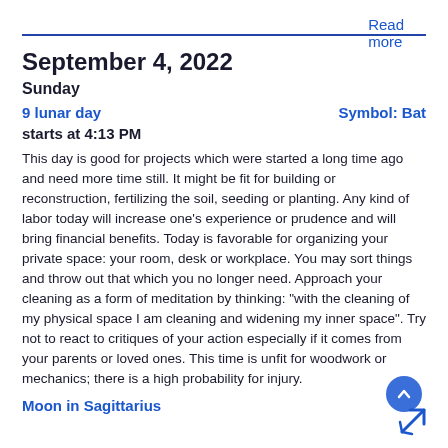Read more
September 4, 2022
Sunday
9 lunar day   Symbol: Bat
starts at 4:13 PM
This day is good for projects which were started a long time ago and need more time still. It might be fit for building or reconstruction, fertilizing the soil, seeding or planting. Any kind of labor today will increase one's experience or prudence and will bring financial benefits. Today is favorable for organizing your private space: your room, desk or workplace. You may sort things and throw out that which you no longer need. Approach your cleaning as a form of meditation by thinking: "with the cleaning of my physical space I am cleaning and widening my inner space". Try not to react to critiques of your action especially if it comes from your parents or loved ones. This time is unfit for woodwork or mechanics; there is a high probability for injury.
Moon in Sagittarius